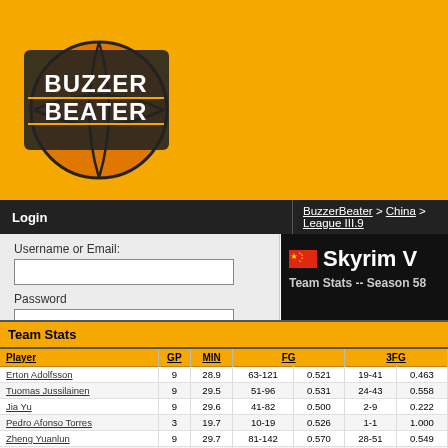[Figure (logo): BuzzerBeater basketball game logo on orange background]
Login | BuzzerBeater > China > League III.9
Username or Email:
Password
Login
FB Login
Forgot Password?
Languages
Bahasa Ind.
Bosanski
Català
Skyrim V
Team Stats -- Season 58
Team Stats
| Player | GP | MIN | FG |  | 3FG |  |
| --- | --- | --- | --- | --- | --- | --- |
| Erton Adolfsson | 9 | 28.9 | 63-121 | 0.521 | 19-41 | 0.463 |
| Tuomas Jussilainen | 9 | 29.5 | 51-96 | 0.531 | 24-43 | 0.558 |
| Jia Yu | 9 | 29.6 | 41-82 | 0.500 | 2-9 | 0.222 |
| Pedro Afonso Torres | 3 | 19.7 | 10-19 | 0.526 | 1-1 | 1.000 |
| Zheng Yuanlun | 9 | 29.7 | 81-142 | 0.570 | 28-51 | 0.549 |
| Ricardo Santos | 7 | 19.8 | 44-83 | 0.530 | 11-28 | 0.393 |
| Au Yang Chi Chun | 9 | 19.1 | 22-58 | 0.379 | 7-23 | 0.304 |
| Ádám Dénes | 8 | 20.0 | 27-57 | 0.474 | 11-21 | 0.524 |
| Jesper Pettersson | 9 | 31.9 | 47-65 | 0.723 | 2-5 | 0.400 |
| Feng Guangrong | 7 | 17.0 | 18-35 | 0.514 | 3-6 | 0.500 |